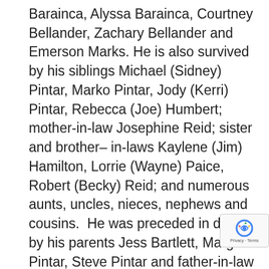Barainca, Alyssa Barainca, Courtney Bellander, Zachary Bellander and Emerson Marks. He is also survived by his siblings Michael (Sidney) Pintar, Marko Pintar, Jody (Kerri) Pintar, Rebecca (Joe) Humbert; mother-in-law Josephine Reid; sister and brother– in-laws Kaylene (Jim) Hamilton, Lorrie (Wayne) Paice, Robert (Becky) Reid; and numerous aunts, uncles, nieces, nephews and cousins.  He was preceded in death by his parents Jess Bartlett, Margie Pintar, Steve Pintar and father-in-law Kay Reid.
Funeral Services will be held Friday, July 17, 2020 at 11:00 AM at the Ely Elks Lodge.
In lieu of flowers, donations can be made to the BPOE Elks Scholarship Fund, 694 Campton St., E 89301 or the White Pine County Horse Races, 636